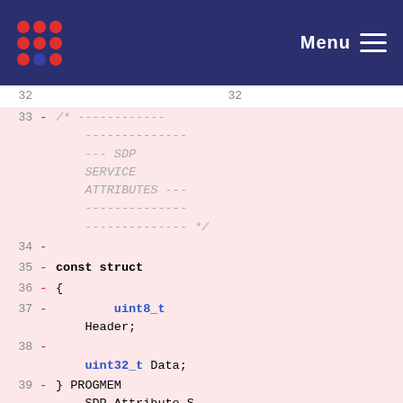Menu
Code diff showing lines 32-41 of a C source file with SDP service attributes struct definition
32  32
33 - /* ------------ -------------- --- SDP SERVICE ATTRIBUTES --- -------------- -------------- */
34 -
35 - const struct
36 - {
37 -         uint8_t Header;
38 -
38 -     uint32_t Data;
39 - } PROGMEM SDP_Attribute_ServiceHandle =
40 -         {
41 -